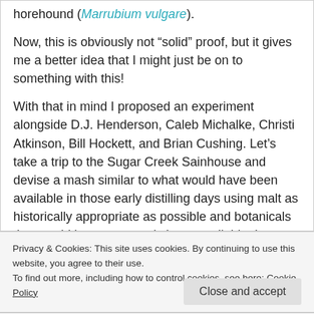horehound (Marrubium vulgare).
Now, this is obviously not “solid” proof, but it gives me a better idea that I might just be on to something with this!
With that in mind I proposed an experiment alongside D.J. Henderson, Caleb Michalke, Christi Atkinson, Bill Hockett, and Brian Cushing. Let’s take a trip to the Sugar Creek Sainhouse and devise a mash similar to what would have been available in those early distilling days using malt as historically appropriate as possible and botanicals that would have commonly been available. Let us film the making of this mash, ferment it using Kveik yeast (as this
Privacy & Cookies: This site uses cookies. By continuing to use this website, you agree to their use.
To find out more, including how to control cookies, see here: Cookie Policy
Close and accept